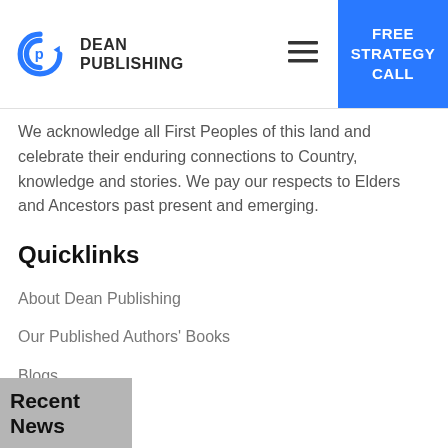Dean Publishing | FREE STRATEGY CALL
We acknowledge all First Peoples of this land and celebrate their enduring connections to Country, knowledge and stories. We pay our respects to Elders and Ancestors past present and emerging.
Quicklinks
About Dean Publishing
Our Published Authors' Books
Blogs
Clarity Call
Recent News